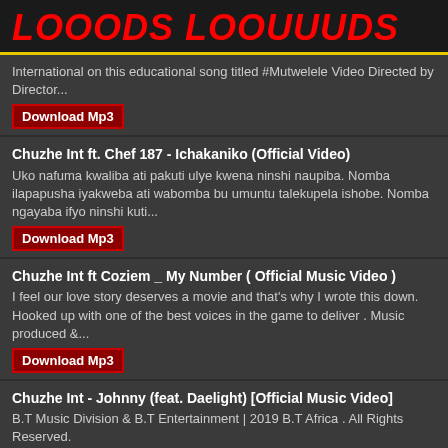LOOODS LOOUUUDS
International on this educational song titled #Mutwelele Video Directed by Director...
Download Mp3
Chuzhe Int ft. Chef 187 - Ichakaniko (Official Video)
Uko nafuma kwaliba ati pakuti ulye kwena ninshi naupiba. Nomba ilapapusha iyakweba ati wabomba bu umuntu talekupela ishobe. Nomba ngayaba ifyo ninshi kuti...
Download Mp3
Chuzhe Int ft Coziem _ My Number ( Official Music Video )
I feel our love story deserves a movie and that's why I wrote this down. Hooked up with one of the best voices in the game to deliver . Music produced &...
Download Mp3
Chuzhe Int - Johnny (feat. Daelight) [Official Music Video]
B.T Music Division & B.T Entertainment | 2019 B.T Africa . All Rights Reserved.
Download Mp3